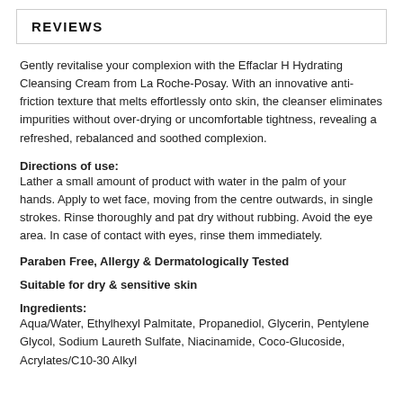REVIEWS
Gently revitalise your complexion with the Effaclar H Hydrating Cleansing Cream from La Roche-Posay. With an innovative anti-friction texture that melts effortlessly onto skin, the cleanser eliminates impurities without over-drying or uncomfortable tightness, revealing a refreshed, rebalanced and soothed complexion.
Directions of use:
Lather a small amount of product with water in the palm of your hands. Apply to wet face, moving from the centre outwards, in single strokes. Rinse thoroughly and pat dry without rubbing. Avoid the eye area. In case of contact with eyes, rinse them immediately.
Paraben Free, Allergy & Dermatologically Tested
Suitable for dry & sensitive skin
Ingredients:
Aqua/Water, Ethylhexyl Palmitate, Propanediol, Glycerin, Pentylene Glycol, Sodium Laureth Sulfate, Niacinamide, Coco-Glucoside, Acrylates/C10-30 Alkyl Acrylate Crosspolymer...